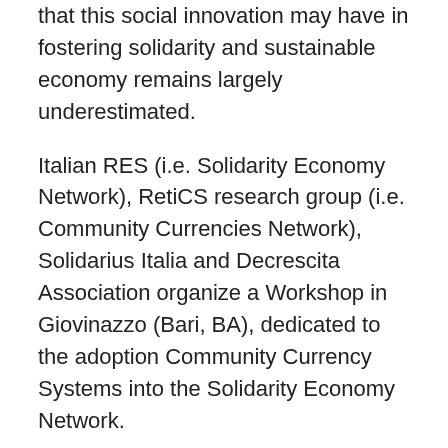that this social innovation may have in fostering solidarity and sustainable economy remains largely underestimated.
Italian RES (i.e. Solidarity Economy Network), RetiCS research group (i.e. Community Currencies Network), Solidarius Italia and Decrescita Association organize a Workshop in Giovinazzo (Bari, BA), dedicated to the adoption Community Currency Systems into the Solidarity Economy Network.
The school is opened to social activists, scholars and practitioners. The arrival of participants is expected for Thursday evening 13 September and It will finish on Sunday morning 16 September at 1 pm.
The participation fee is 100 € (70 € for unemployers